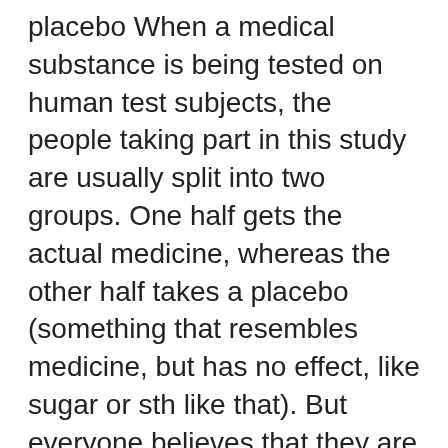placebo When a medical substance is being tested on human test subjects, the people taking part in this study are usually split into two groups. One half gets the actual medicine, whereas the other half takes a placebo (something that resembles medicine, but has no effect, like sugar or sth like that). But everyone believes that they are taking the actual medicine. This is done Although placebos originally were medicinal preparations having no specific pharmacological activity against a targeted condition, the concept has been extended to include treatments or procedures, especially those administered to control groups in clinical trials in order to provide baseline measurements for the experimental protocol. Girl:"Your Medication" Girl:"They're Placebo" Boy:"What does Placebo